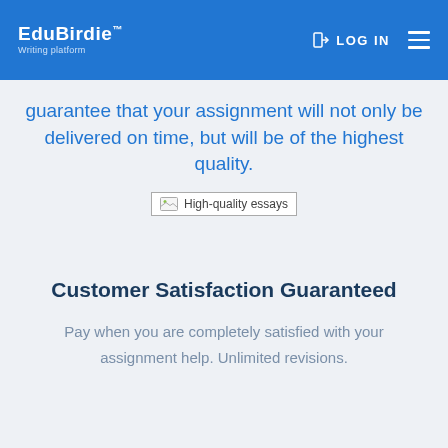EduBirdie™ Writing platform — LOG IN
guarantee that your assignment will not only be delivered on time, but will be of the highest quality.
[Figure (illustration): Broken image placeholder labeled 'High-quality essays']
Customer Satisfaction Guaranteed
Pay when you are completely satisfied with your assignment help. Unlimited revisions.